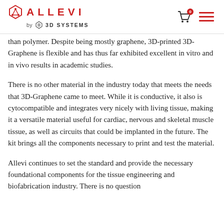[Figure (logo): Allevi by 3D Systems logo with cart and hamburger menu icons in header]
than polymer. Despite being mostly graphene, 3D-printed 3D-Graphene is flexible and has thus far exhibited excellent in vitro and in vivo results in academic studies.
There is no other material in the industry today that meets the needs that 3D-Graphene came to meet. While it is conductive, it also is cytocompatible and integrates very nicely with living tissue, making it a versatile material useful for cardiac, nervous and skeletal muscle tissue, as well as circuits that could be implanted in the future. The kit brings all the components necessary to print and test the material.
Allevi continues to set the standard and provide the necessary foundational components for the tissue engineering and biofabrication industry. There is no question